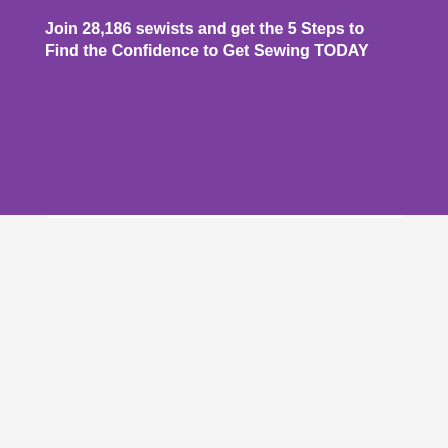Join 28,186 sewists and get the 5 Steps to Find the Confidence to Get Sewing TODAY
[Figure (screenshot): Purple modal popup with white input field, salmon/peach colored button segments, close button (×), and carousel dots. Below is a light gray content area with a scroll-up button, user avatar icon with number 1, partial reCAPTCHA badge. At the bottom is a Lidl advertisement bar with logo, text 'Lidl: More Food for Less Money', blue arrow button, and partial weather widget.]